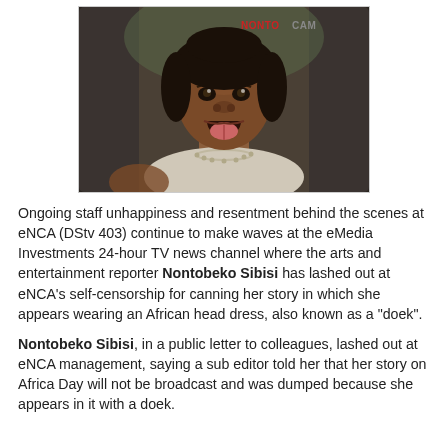[Figure (photo): A woman sticking out her tongue, sitting in a car. Red watermark text 'NONTOCAM' in top right corner of photo.]
Ongoing staff unhappiness and resentment behind the scenes at eNCA (DStv 403) continue to make waves at the eMedia Investments 24-hour TV news channel where the arts and entertainment reporter Nontobeko Sibisi has lashed out at eNCA's self-censorship for canning her story in which she appears wearing an African head dress, also known as a "doek".
Nontobeko Sibisi, in a public letter to colleagues, lashed out at eNCA management, saying a sub editor told her that her story on Africa Day will not be broadcast and was dumped because she appears in it with a doek.